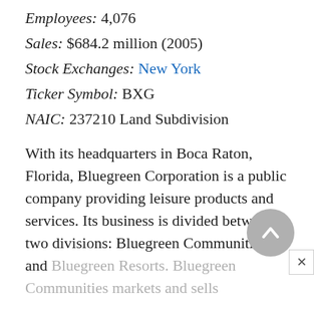Employees: 4,076
Sales: $684.2 million (2005)
Stock Exchanges: New York
Ticker Symbol: BXG
NAIC: 237210 Land Subdivision
With its headquarters in Boca Raton, Florida, Bluegreen Corporation is a public company providing leisure products and services. Its business is divided between two divisions: Bluegreen Communities and Bluegreen Resorts. Bluegreen Communities markets and sells